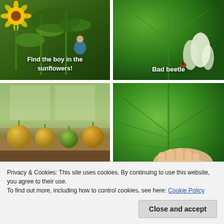[Figure (photo): Boy standing among tall sunflowers in a garden, with text overlay 'Find the boy in the sunflowers!']
[Figure (photo): Close-up of a large green leaf with a white flower bud and an insect, with text overlay 'Bad beetle']
[Figure (photo): Four small tomatoes (yellow, green, orange) lined up on a wooden windowsill with window light behind]
[Figure (photo): Large green leaf being held by a hand with a ring, showing the size of the leaf]
Privacy & Cookies: This site uses cookies. By continuing to use this website, you agree to their use.
To find out more, including how to control cookies, see here: Cookie Policy
[Figure (photo): Partial bottom image showing green garden plants]
[Figure (photo): Partial bottom image showing green garden plants]